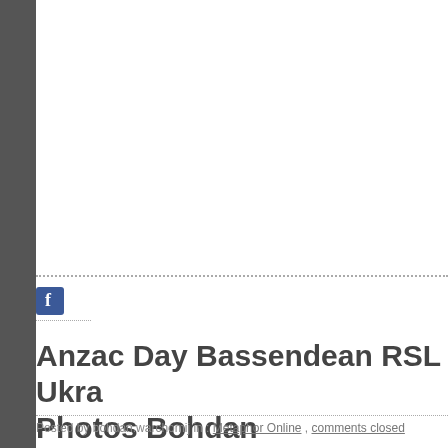[Figure (photo): Large white/blank image area at top of page, likely a photograph that is not visible in this crop]
[Figure (logo): Facebook share icon button (blue square with white f)]
Anzac Day Bassendean RSL and a Ukra… Photos Bohdan Warchomij   April 26, 2022
Posted by bohdan.warchomij in : Metaphor Online , comments closed